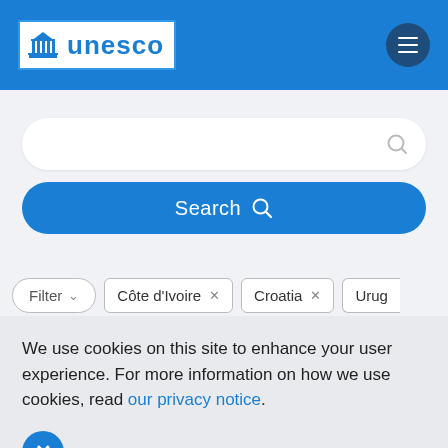UNESCO
[Figure (screenshot): Search bar with magnifier icon on light background]
[Figure (screenshot): Blue Search button with magnifier icon]
Filter   Côte d'Ivoire ×   Croatia ×   Urug
We use cookies on this site to enhance your user experience. For more information on how we use cookies, read our privacy notice.